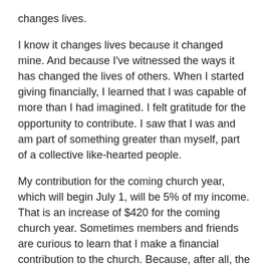changes lives.
I know it changes lives because it changed mine. And because I've witnessed the ways it has changed the lives of others. When I started giving financially, I learned that I was capable of more than I had imagined. I felt gratitude for the opportunity to contribute. I saw that I was and am part of something greater than myself, part of a collective like-hearted people.
My contribution for the coming church year, which will begin July 1, will be 5% of my income. That is an increase of $420 for the coming church year. Sometimes members and friends are curious to learn that I make a financial contribution to the church. Because, after all, the church pays my salary. I want to give to the church, just as I believe that each of you wants to contribute financially. I love to make a financial contribution to this church.
It is essential to me. It makes me happy. It liberates my